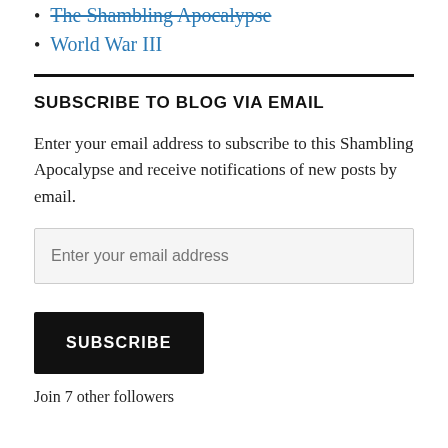The Shambling Apocalypse
World War III
SUBSCRIBE TO BLOG VIA EMAIL
Enter your email address to subscribe to this Shambling Apocalypse and receive notifications of new posts by email.
Enter your email address
SUBSCRIBE
Join 7 other followers